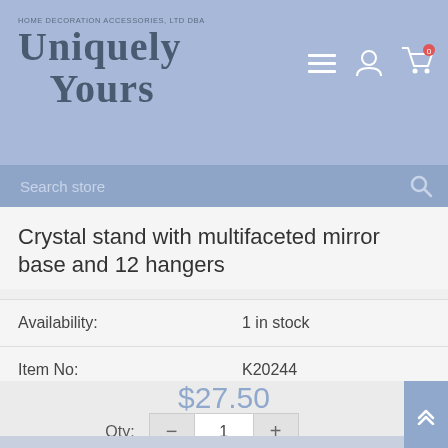Home Decoration Accessories, LTD DBA Uniquely Yours
Search store
Crystal stand with multifaceted mirror base and 12 hangers
| Field | Value |
| --- | --- |
| Availability: | 1 in stock |
| Item No: | K20244 |
$27.50
Qty: 1